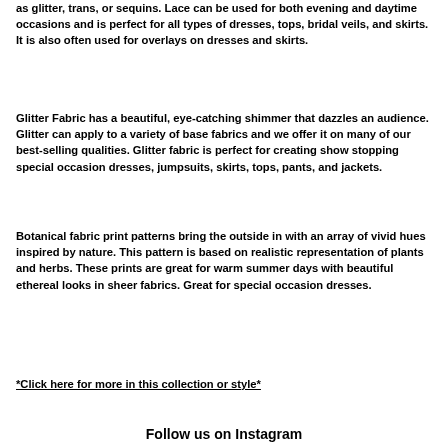as glitter, trans, or sequins. Lace can be used for both evening and daytime occasions and is perfect for all types of dresses, tops, bridal veils, and skirts. It is also often used for overlays on dresses and skirts.
Glitter Fabric has a beautiful, eye-catching shimmer that dazzles an audience. Glitter can apply to a variety of base fabrics and we offer it on many of our best-selling qualities. Glitter fabric is perfect for creating show stopping special occasion dresses, jumpsuits, skirts, tops, pants, and jackets.
Botanical fabric print patterns bring the outside in with an array of vivid hues inspired by nature. This pattern is based on realistic representation of plants and herbs. These prints are great for warm summer days with beautiful ethereal looks in sheer fabrics. Great for special occasion dresses.
*Click here for more in this collection or style*
Follow us on Instagram